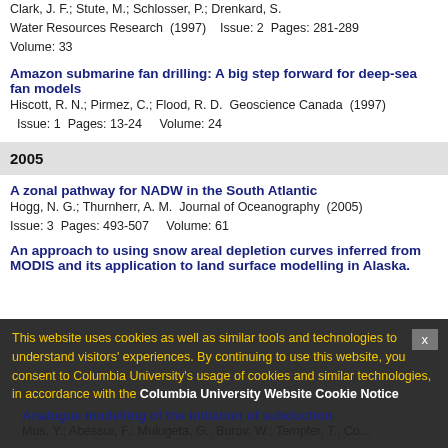Clark, J. F.; Stute, M.; Schlosser, P.; Drenkard, S.
Water Resources Research  (1997)    Issue: 2  Pages: 281-289
Volume: 33
Amazon submarine fan drilling: A big step forward for deep-sea fan models
Hiscott, R. N.; Pirmez, C.; Flood, R. D.  Geoscience Canada  (1997)  Issue: 1  Pages: 13-24    Volume: 24
2005
A zonal pathway for NADW in the South Atlantic
Hogg, N. G.; Thurnherr, A. M.  Journal of Oceanography  (2005)
Issue: 3  Pages: 493-507    Volume: 61
An approach to using snow areal depletion curves inferred from MODIS and its application to land surface modelling in Alaska.
Dery, S. J.; Salomonson, V. V.; Stieglitz, M.; Hall, D. K.; Appel, I.  Hydrological Processes  (2005)  Issue: 14  Pages: 2755-2774  Volume: 19  Doi:10.1002/Hyp.5784
Analogue modelling of the initiation of subduction
Mus, Y.; Abessur, F.; Mulugeta, G.; Burov, W.; Tempfer, T.; Com...